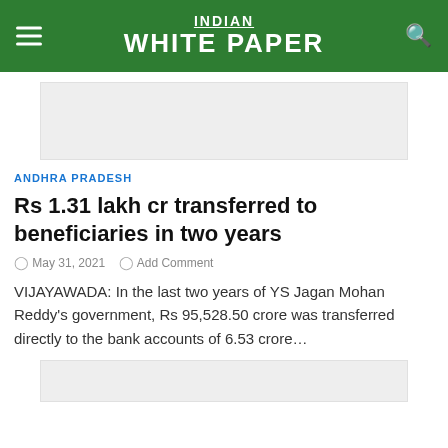INDIAN WHITE PAPER
[Figure (other): Advertisement banner placeholder (gray box)]
ANDHRA PRADESH
Rs 1.31 lakh cr transferred to beneficiaries in two years
May 31, 2021   Add Comment
VIJAYAWADA: In the last two years of YS Jagan Mohan Reddy's government, Rs 95,528.50 crore was transferred directly to the bank accounts of 6.53 crore…
[Figure (other): Advertisement banner placeholder (gray box) at bottom]